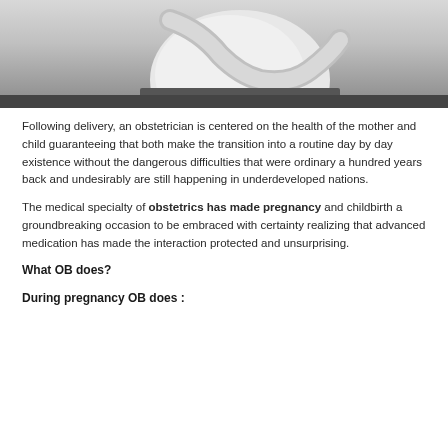[Figure (photo): Black and white photograph of a pregnant woman holding her belly, side profile view, cropped to show torso]
Following delivery, an obstetrician is centered on the health of the mother and child guaranteeing that both make the transition into a routine day by day existence without the dangerous difficulties that were ordinary a hundred years back and undesirably are still happening in underdeveloped nations.
The medical specialty of obstetrics has made pregnancy and childbirth a groundbreaking occasion to be embraced with certainty realizing that advanced medication has made the interaction protected and unsurprising.
What OB does?
During pregnancy OB does :